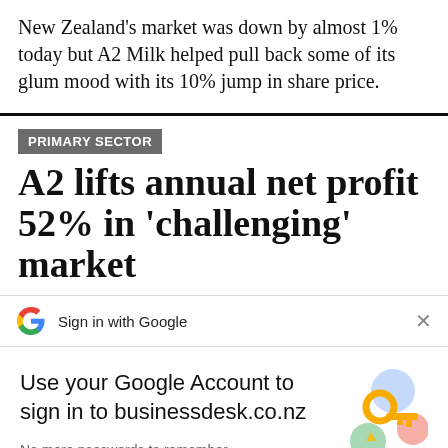New Zealand's market was down by almost 1% today but A2 Milk helped pull back some of its glum mood with its 10% jump in share price.
PRIMARY SECTOR
A2 lifts annual net profit 52% in 'challenging' market
Sign in with Google
Use your Google Account to sign in to businessdesk.co.nz
No more passwords to remember. Signing in is fast, simple and secure.
Continue